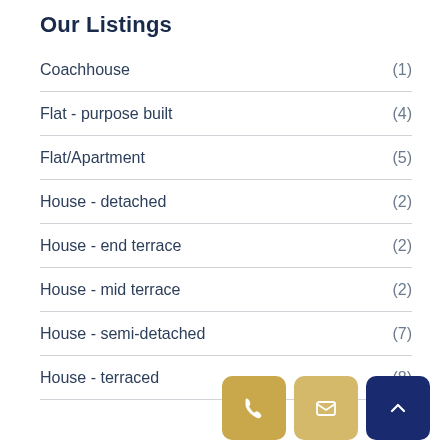Our Listings
Coachhouse (1)
Flat - purpose built (4)
Flat/Apartment (5)
House - detached (2)
House - end terrace (2)
House - mid terrace (2)
House - semi-detached (7)
House - terraced (8)
[Figure (other): Three buttons: phone (gold), email (gold), scroll-to-top (navy)]